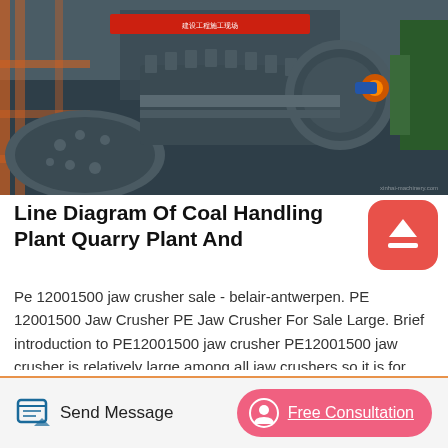[Figure (photo): Industrial coal handling plant machinery — large ball mills, gear conveyors, orange scaffolding, and heavy equipment in a factory setting. A red banner is visible in the background.]
Line Diagram Of Coal Handling Plant Quarry Plant And
Pe 12001500 jaw crusher sale - belair-antwerpen. PE 12001500 Jaw Crusher PE Jaw Crusher For Sale Large. Brief introduction to PE12001500 jaw crusher PE12001500 jaw crusher is relatively large among all jaw crushers so it is for coarse crushing in largesized stone crushing plants and sand production lines The large PE jaw crusher can crush raw material with size about